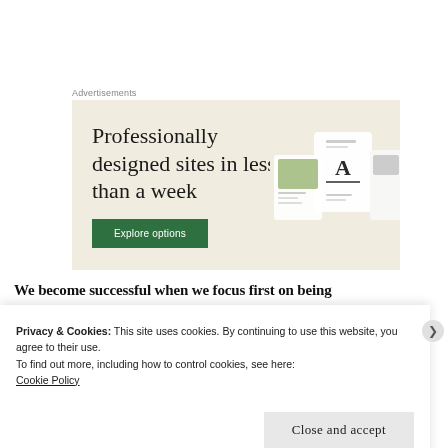Advertisements
[Figure (screenshot): Advertisement banner with beige background showing text 'Professionally designed sites in less than a week', a green 'Explore options' button, and mockup screenshots of web designs on the right side.]
We become successful when we focus first on being
Privacy & Cookies: This site uses cookies. By continuing to use this website, you agree to their use.
To find out more, including how to control cookies, see here:
Cookie Policy
Close and accept